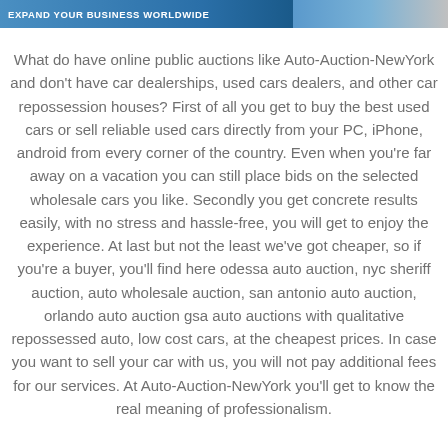EXPAND YOUR BUSINESS WORLDWIDE
What do have online public auctions like Auto-Auction-NewYork and don't have car dealerships, used cars dealers, and other car repossession houses? First of all you get to buy the best used cars or sell reliable used cars directly from your PC, iPhone, android from every corner of the country. Even when you're far away on a vacation you can still place bids on the selected wholesale cars you like. Secondly you get concrete results easily, with no stress and hassle-free, you will get to enjoy the experience. At last but not the least we've got cheaper, so if you're a buyer, you'll find here odessa auto auction, nyc sheriff auction, auto wholesale auction, san antonio auto auction, orlando auto auction gsa auto auctions with qualitative repossessed auto, low cost cars, at the cheapest prices. In case you want to sell your car with us, you will not pay additional fees for our services. At Auto-Auction-NewYork you'll get to know the real meaning of professionalism.